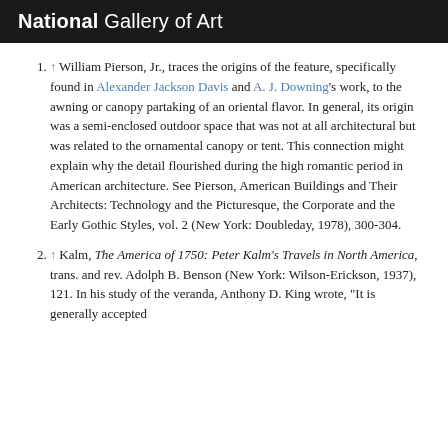National Gallery of Art
↑ William Pierson, Jr., traces the origins of the feature, specifically found in Alexander Jackson Davis and A. J. Downing's work, to the awning or canopy partaking of an oriental flavor. In general, its origin was a semi-enclosed outdoor space that was not at all architectural but was related to the ornamental canopy or tent. This connection might explain why the detail flourished during the high romantic period in American architecture. See Pierson, American Buildings and Their Architects: Technology and the Picturesque, the Corporate and the Early Gothic Styles, vol. 2 (New York: Doubleday, 1978), 300-304.
↑ Kalm, The America of 1750: Peter Kalm's Travels in North America, trans. and rev. Adolph B. Benson (New York: Wilson-Erickson, 1937), 121. In his study of the veranda, Anthony D. King wrote, "It is generally accepted